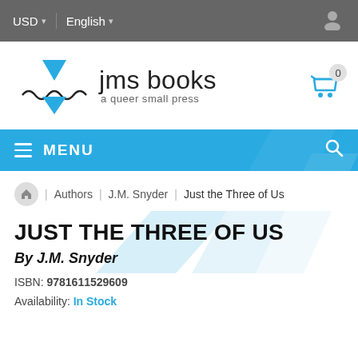USD  English
[Figure (logo): JMS Books logo with triangle and text 'jms books - a queer small press']
MENU
Authors  /  J.M. Snyder  /  Just the Three of Us
JUST THE THREE OF US
By J.M. Snyder
ISBN: 9781611529609
Availability: In Stock